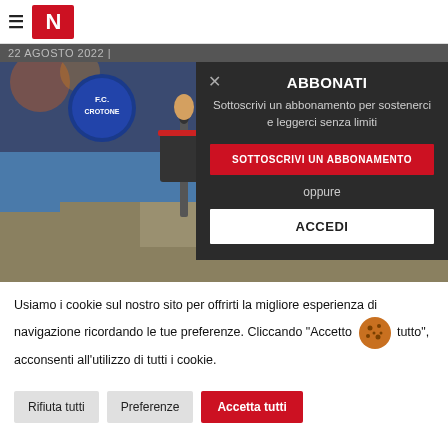≡ N — 22 AGOSTO 2022 |
[Figure (screenshot): Website screenshot showing FC Crotone page with two Roman gladiators standing near the sea with shields and spears, overlaid with a subscription modal dialog on the right side.]
ABBONATI
Sottoscrivi un abbonamento per sostenerci e leggerci senza limiti
SOTTOSCRIVI UN ABBONAMENTO
oppure
ACCEDI
Usiamo i cookie sul nostro sito per offrirti la migliore esperienza di navigazione ricordando le tue preferenze. Cliccando "Accetto tutto", acconsenti all'utilizzo di tutti i cookie.
Rifiuta tutti   Preferenze   Accetta tutti